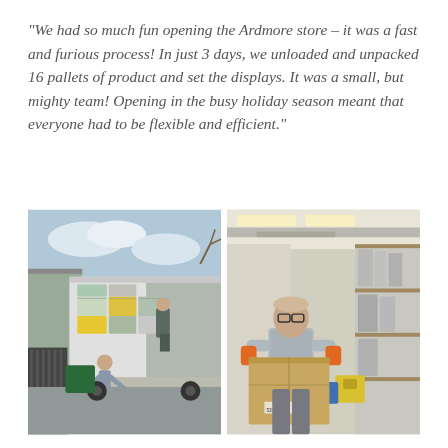“We had so much fun opening the Ardmore store – it was a fast and furious process! In just 3 days, we unloaded and unpacked 16 pallets of product and set the displays. It was a small, but mighty team! Opening in the busy holiday season meant that everyone had to be flexible and efficient.”
[Figure (photo): Two photos side by side: Left photo shows two workers unloading stacked pallets of boxes from a large delivery truck outdoors. One worker stands on the truck bed, another stands below. Right photo shows a man wearing glasses and orange gloves carrying a large cardboard box inside a warehouse with metal shelving.]